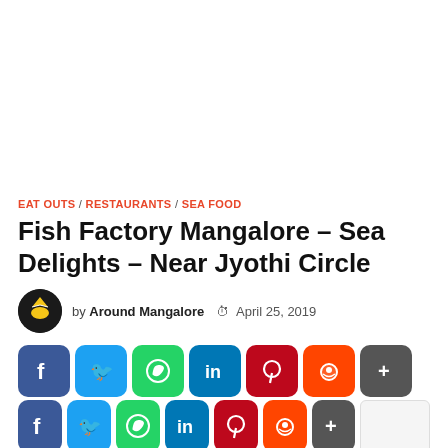[Figure (other): Advertisement / blank white space at top of page]
EAT OUTS / RESTAURANTS / SEA FOOD
Fish Factory Mangalore – Sea Delights – Near Jyothi Circle
by Around Mangalore   April 25, 2019
[Figure (infographic): Social share buttons row 1: Facebook, Twitter, WhatsApp, LinkedIn, Pinterest, Reddit, More]
[Figure (infographic): Social share buttons row 2: Facebook, Twitter, WhatsApp, LinkedIn, Pinterest, Reddit, More, Save]
Fish Factory – Sea Delights Near KMC Hospital, Jyothi